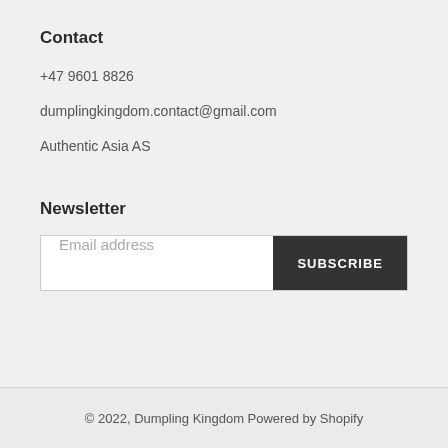Contact
+47 9601 8826
dumplingkingdom.contact@gmail.com
Authentic Asia AS
Newsletter
Email address
SUBSCRIBE
© 2022, Dumpling Kingdom  Powered by Shopify